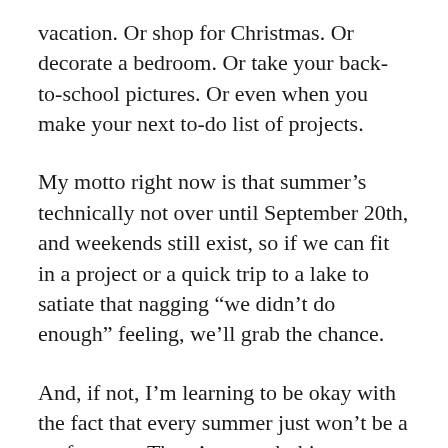vacation. Or shop for Christmas. Or decorate a bedroom. Or take your back-to-school pictures. Or even when you make your next to-do list of projects.
My motto right now is that summer's technically not over until September 20th, and weekends still exist, so if we can fit in a project or a quick trip to a lake to satiate that nagging “we didn’t do enough” feeling, we’ll grab the chance.
And, if not, I’m learning to be okay with the fact that every summer just won’t be a perfect one. There’s no such thing as perfection, and that’s a great thing to remember. Plus, the end